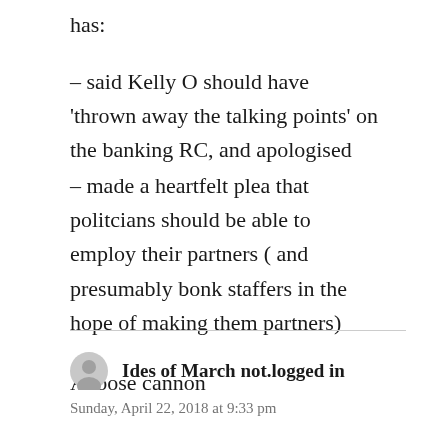has:
– said Kelly O should have 'thrown away the talking points' on the banking RC, and apologised
– made a heartfelt plea that politcians should be able to employ their partners ( and presumably bonk staffers in the hope of making them partners)
A loose cannon
Ides of March not.logged in
Sunday, April 22, 2018 at 9:33 pm